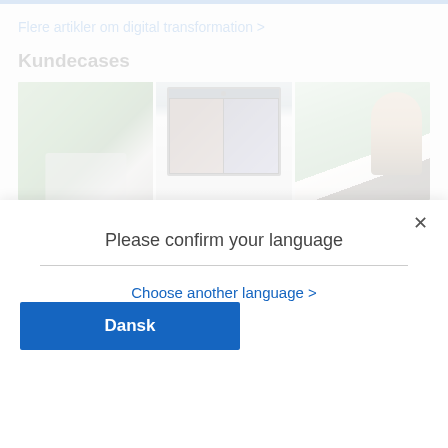Flere artikler om digital transformation >
Kundecases
[Figure (photo): A horizontal photo strip showing three images side by side: (1) outdoor greenery with a laptop/tablet device, (2) a computer monitor showing a video call with two participants, (3) a woman with dark hair viewed from the side near a window with green foliage outside.]
Please confirm your language
Choose another language >
Dansk